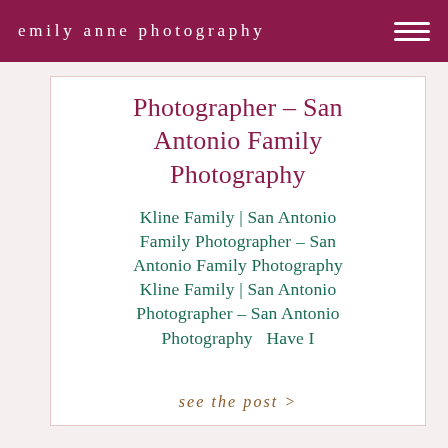emily anne photography
Photographer – San Antonio Family Photography
Kline Family | San Antonio Family Photographer – San Antonio Family Photography Kline Family | San Antonio Photographer – San Antonio Photography  Have I
see the post >